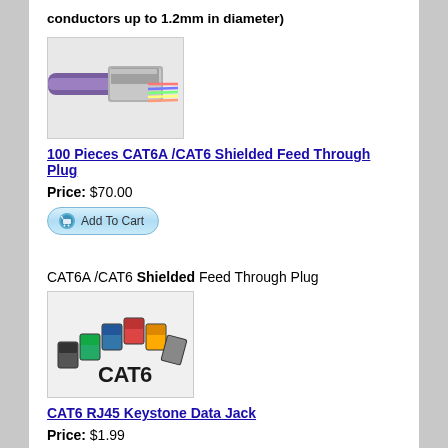conductors up to 1.2mm in diameter)
[Figure (photo): CAT6A/CAT6 Shielded Feed Through Plug - metal connector with purple cable and colored wires]
100 Pieces CAT6A /CAT6 Shielded Feed Through Plug
Price: $70.00
[Figure (screenshot): Add To Cart button]
CAT6A /CAT6 Shielded Feed Through Plug
[Figure (photo): CAT6 RJ45 Keystone Data Jacks in multiple colors arranged in an arc with CAT6 logo]
CAT6 RJ45 Keystone Data Jack
Price: $1.99
[Figure (screenshot): Add To Cart button]